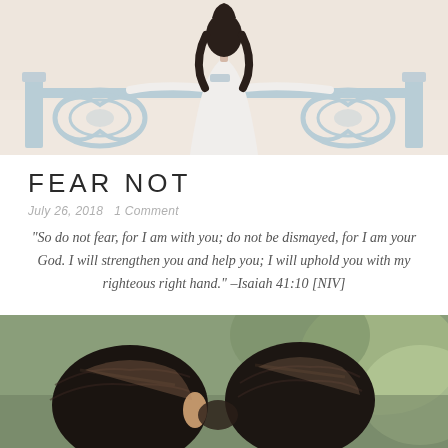[Figure (photo): Woman in white dress standing at an ornate light blue railing/fence, viewed from behind, soft pink sky background]
FEAR NOT
July 26, 2018   1 Comment
“So do not fear, for I am with you; do not be dismayed, for I am your God. I will strengthen you and help you; I will uphold you with my righteous right hand.” –Isaiah 41:10 [NIV]
[Figure (photo): Close-up photo of two people bowing their heads together, green bokeh background]